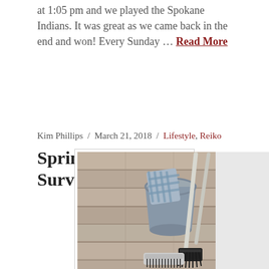at 1:05 pm and we played the Spokane Indians. It was great as we came back in the end and won! Every Sunday … Read More
Spring Cleaning Survival Guide
Kim Phillips / March 21, 2018 / Lifestyle, Reiko
[Figure (photo): Cleaning supplies on a wooden floor: a metal bucket with a plaid cloth, a broom, a scrub brush, and a dustpan leaning against a white wall.]